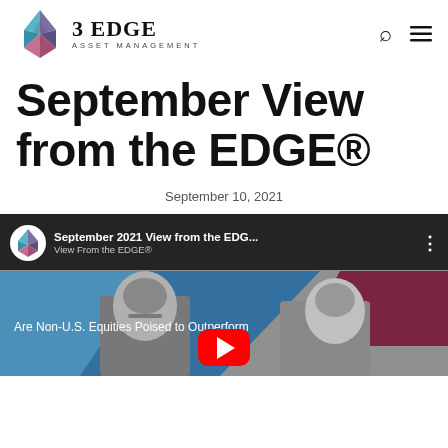3 EDGE ASSET MANAGEMENT
September View from the EDGE®
September 10, 2021
[Figure (screenshot): YouTube video thumbnail showing '3 Edge Asset Management' logo, title 'September 2021 View from the EDG...', subtitle 'View From the EDGE® Are Non-U.S. Equities Poised to Outperform', with a red YouTube play button and two men in grayscale photo below.]